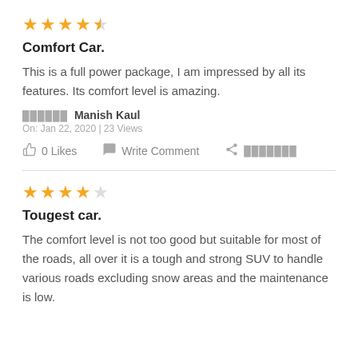[Figure (other): 4.5 star rating (4 full stars and 1 half star in orange)]
Comfort Car.
This is a full power package, I am impressed by all its features. Its comfort level is amazing.
██████ Manish Kaul
On: Jan 22, 2020 | 23 Views
0 Likes   Write Comment   ███████
[Figure (other): 4 star rating (4 full stars and 1 empty star in orange)]
Tougest car.
The comfort level is not too good but suitable for most of the roads, all over it is a tough and strong SUV to handle various roads excluding snow areas and the maintenance is low.